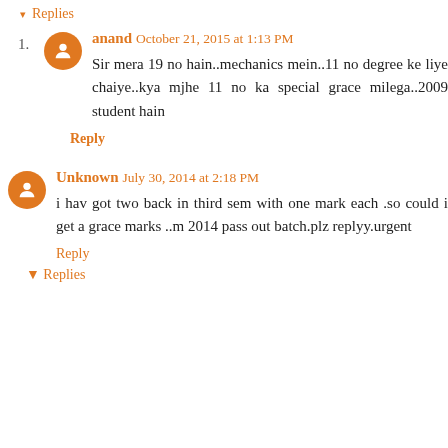▾ Replies
1. anand October 21, 2015 at 1:13 PM
Sir mera 19 no hain..mechanics mein..11 no degree ke liye chaiye..kya mjhe 11 no ka special grace milega..2009 student hain
Reply
Unknown July 30, 2014 at 2:18 PM
i hav got two back in third sem with one mark each .so could i get a grace marks ..m 2014 pass out batch.plz replyy.urgent
Reply
▾ Replies